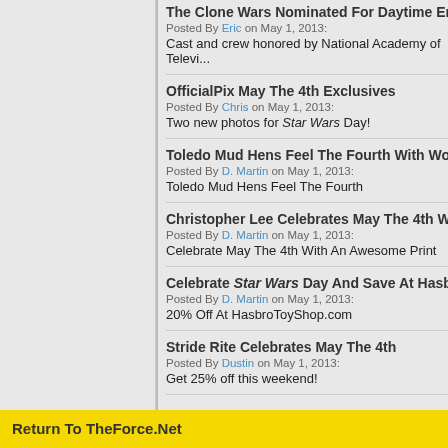The Clone Wars Nominated For Daytime Emmy Aw...
Posted By Eric on May 1, 2013:
Cast and crew honored by National Academy of Televi...
OfficialPix May The 4th Exclusives
Posted By Chris on May 1, 2013:
Two new photos for Star Wars Day!
Toledo Mud Hens Feel The Fourth With Wookiee J...
Posted By D. Martin on May 1, 2013:
Toledo Mud Hens Feel The Fourth
Christopher Lee Celebrates May The 4th With Coo...
Posted By D. Martin on May 1, 2013:
Celebrate May The 4th With An Awesome Print
Celebrate Star Wars Day And Save At HasbroToyS...
Posted By D. Martin on May 1, 2013:
20% Off At HasbroToyShop.com
Stride Rite Celebrates May The 4th
Posted By Dustin on May 1, 2013:
Get 25% off this weekend!
Return To TheForce.Net